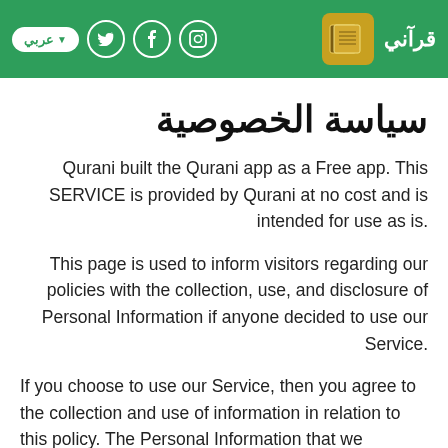عربي | Twitter | Facebook | Instagram | قرآني | [logo]
سياسة الخصوصية
Qurani built the Qurani app as a Free app. This SERVICE is provided by Qurani at no cost and is intended for use as is.
This page is used to inform visitors regarding our policies with the collection, use, and disclosure of Personal Information if anyone decided to use our Service.
If you choose to use our Service, then you agree to the collection and use of information in relation to this policy. The Personal Information that we